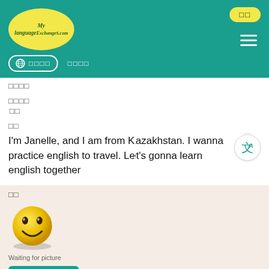[Figure (logo): MyLanguageExchange.com logo in yellow oval on teal header]
□□
□□□□
□□
□□
I'm Janelle, and I am from Kazakhstan. I wanna practice english to travel. Let's gonna learn english together
□□
[Figure (illustration): Yellow smiley face emoji, Waiting for picture]
Alvina
Add to Favorites
June 5, 2022